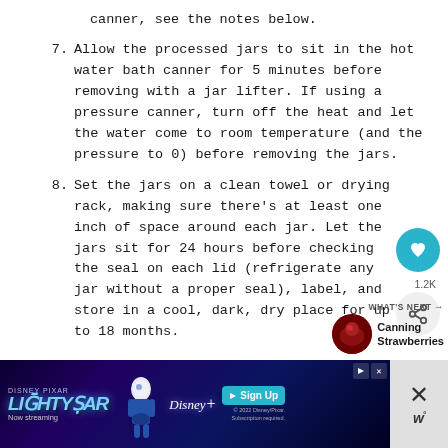canner, see the notes below.
7. Allow the processed jars to sit in the hot water bath canner for 5 minutes before removing with a jar lifter. If using a pressure canner, turn off the heat and let the water come to room temperature (and the pressure to 0) before removing the jars.
8. Set the jars on a clean towel or drying rack, making sure there's at least one inch of space around each jar. Let the jars sit for 24 hours before checking the seal on each lid (refrigerate any jar without a proper seal), label, and store in a cool, dark, dry place for up to 18 months.
[Figure (screenshot): UI overlay: heart/save button (teal circle with heart icon), share count 1.2K, share button, and What's Next panel showing Canning Strawberries thumbnail]
[Figure (screenshot): Advertisement banner for Disney Pixar Lightyear movie - Now streaming on Disney+, Sign Up button, close button and W logo]